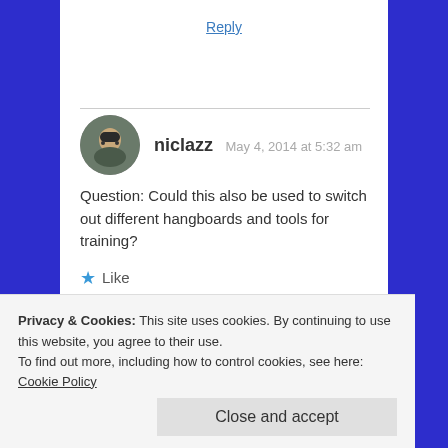Reply
niclazz  May 4, 2014 at 5:32 am
Question: Could this also be used to switch out different hangboards and tools for training?
Like
Reply
Privacy & Cookies: This site uses cookies. By continuing to use this website, you agree to their use.
To find out more, including how to control cookies, see here: Cookie Policy
Close and accept